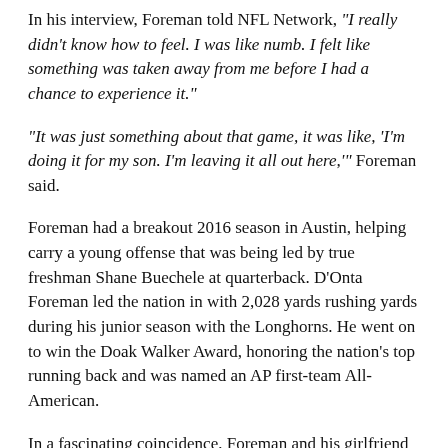In his interview, Foreman told NFL Network, "I really didn't know how to feel. I was like numb. I felt like something was taken away from me before I had a chance to experience it."
"It was just something about that game, it was like, 'I'm doing it for my son. I'm leaving it all out here,'" Foreman said.
Foreman had a breakout 2016 season in Austin, helping carry a young offense that was being led by true freshman Shane Buechele at quarterback. D'Onta Foreman led the nation in with 2,028 yards rushing yards during his junior season with the Longhorns. He went on to win the Doak Walker Award, honoring the nation's top running back and was named an AP first-team All-American.
In a fascinating coincidence, Foreman and his girlfriend are expecting a child on Sept. 16, which is the one-year anniversary of D'Onta Jr.'s birth.